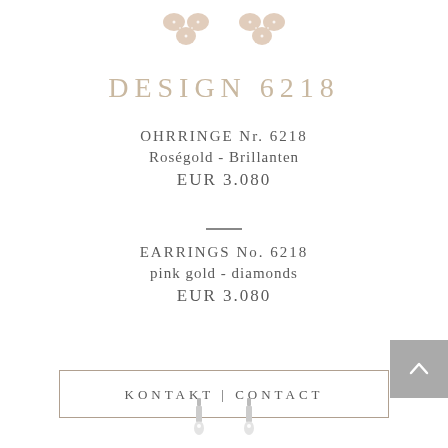[Figure (photo): Two rose gold diamond flower/clover earrings shown from above, partially cropped at top]
DESIGN 6218
OHRRINGE Nr. 6218
Roségold - Brillanten
EUR 3.080
EARRINGS No. 6218
pink gold - diamonds
EUR 3.080
KONTAKT | CONTACT
[Figure (photo): Two white gold/silver drop earrings partially visible at bottom of page]